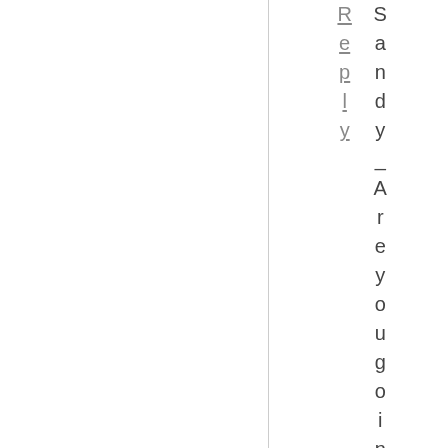Reply Sandy_Are you going to Times
[Figure (other): Vertical divider line separating left blank area from right text column]